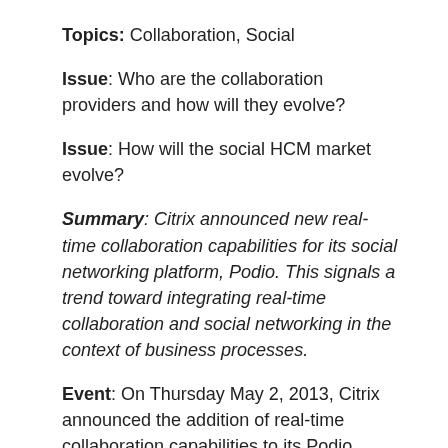Topics: Collaboration, Social
Issue: Who are the collaboration providers and how will they evolve?
Issue: How will the social HCM market evolve?
Summary: Citrix announced new real-time collaboration capabilities for its social networking platform, Podio. This signals a trend toward integrating real-time collaboration and social networking in the context of business processes.
Event: On Thursday May 2, 2013, Citrix announced the addition of real-time collaboration capabilities to its Podio social business platform. The new capability is called Podio Chat, which includes instant messaging,